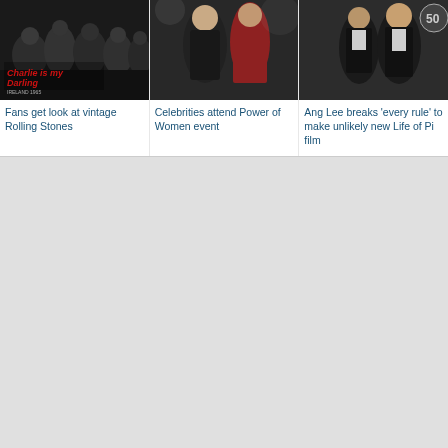[Figure (photo): Black and white vintage photo with red 'Charlie is my Darling' text overlay, Rolling Stones concert image]
Fans get look at vintage Rolling Stones
[Figure (photo): Two female celebrities in evening wear at Power of Women event]
Celebrities attend Power of Women event
[Figure (photo): Ang Lee and another person in formal wear at an event with a 50th anniversary backdrop]
Ang Lee breaks 'every rule' to make unlikely new Life of Pi film